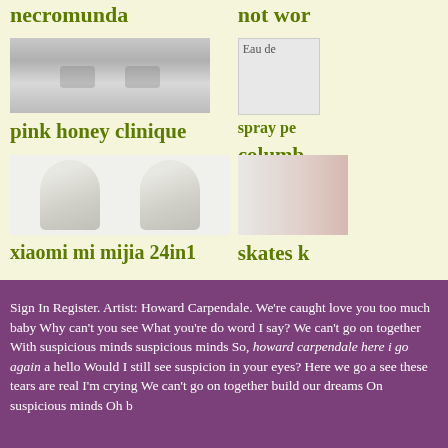necromunda
not wor
[Figure (photo): Brushed metal surface with two recessed oval shapes]
[Figure (photo): Eau de spray partial image]
pink honey clinique
columb
[Figure (photo): Two white rounded cap/container tops on light background]
[Figure (photo): Skates product partial image]
xiaomi mi mijia 24in1
skates k
Sign In Register. Artist: Howard Carpendale. We're caught love you too much baby Why can't you see What you're do word I say? We can't go on together With suspicious minds suspicious minds So, howard carpendale here i go again a hello Would I still see suspicion in your eyes? Here we go a see these tears are real I'm crying We can't go on together build our dreams On suspicious minds Oh b